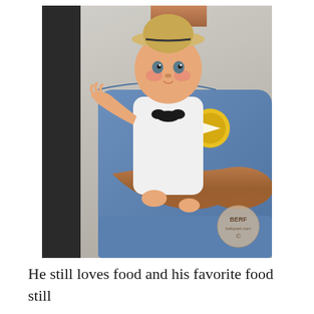[Figure (photo): A man in a blue t-shirt with a yellow circular logo holds a baby wearing a white outfit with a black bow tie and a straw hat. The baby reaches one hand outward toward the camera. The photo has a watermark reading 'BERF' in the lower right corner.]
He still loves food and his favorite food still